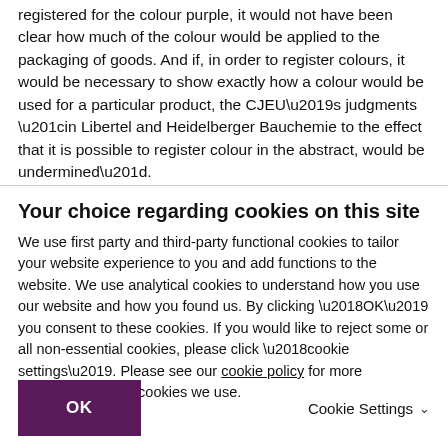registered for the colour purple, it would not have been clear how much of the colour would be applied to the packaging of goods. And if, in order to register colours, it would be necessary to show exactly how a colour would be used for a particular product, the CJEU’s judgments “in Libertel and Heidelberger Bauchemie to the effect that it is possible to register colour in the abstract, would be undermined”.
Your choice regarding cookies on this site
We use first party and third-party functional cookies to tailor your website experience to you and add functions to the website. We use analytical cookies to understand how you use our website and how you found us. By clicking ‘OK’ you consent to these cookies. If you would like to reject some or all non-essential cookies, please click ‘cookie settings’. Please see our cookie policy for more information on the cookies we use.
OK
Cookie Settings